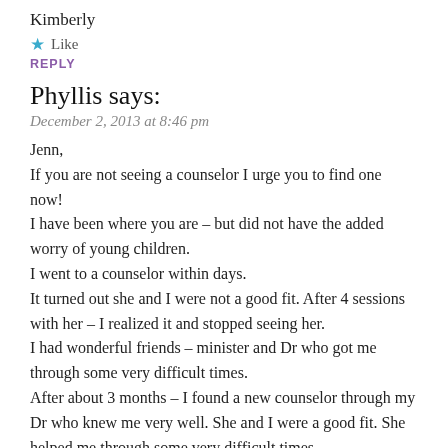Kimberly
★ Like
REPLY
Phyllis says:
December 2, 2013 at 8:46 pm
Jenn,
If you are not seeing a counselor I urge you to find one now!
I have been where you are – but did not have the added worry of young children.
I went to a counselor within days.
It turned out she and I were not a good fit. After 4 sessions with her – I realized it and stopped seeing her.
I had wonderful friends – minister and Dr who got me through some very difficult times.
After about 3 months – I found a new counselor through my Dr who knew me very well. She and I were a good fit. She helped me through some very difficult times.